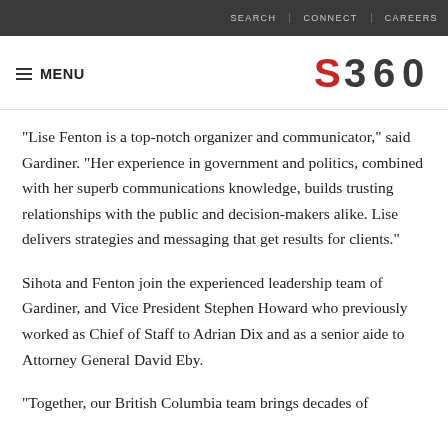SEARCH  CONNECT  CAREERS
[Figure (logo): S360 logo with stylized red and dark grey lettering]
“Lise Fenton is a top-notch organizer and communicator,” said Gardiner. “Her experience in government and politics, combined with her superb communications knowledge, builds trusting relationships with the public and decision-makers alike. Lise delivers strategies and messaging that get results for clients.”
Sihota and Fenton join the experienced leadership team of Gardiner, and Vice President Stephen Howard who previously worked as Chief of Staff to Adrian Dix and as a senior aide to Attorney General David Eby.
“Together, our British Columbia team brings decades of